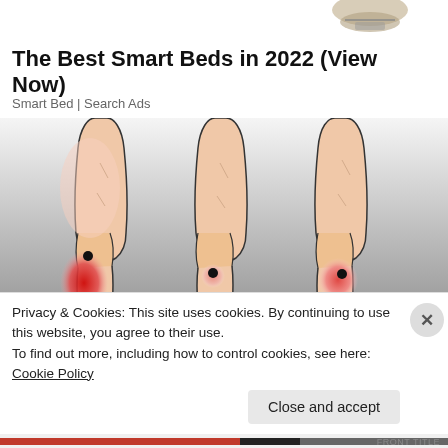[Figure (illustration): Partial view of a product image at top (hat/cap illustration, cropped)]
The Best Smart Beds in 2022 (View Now)
Smart Bed | Search Ads
[Figure (illustration): Three medical illustrations of knee joints showing pain points: left knee with large bright red area on lower left, middle knee with small red dot, right knee with medium red patch — all shown against a grey gradient background]
Privacy & Cookies: This site uses cookies. By continuing to use this website, you agree to their use.
To find out more, including how to control cookies, see here: Cookie Policy
Close and accept